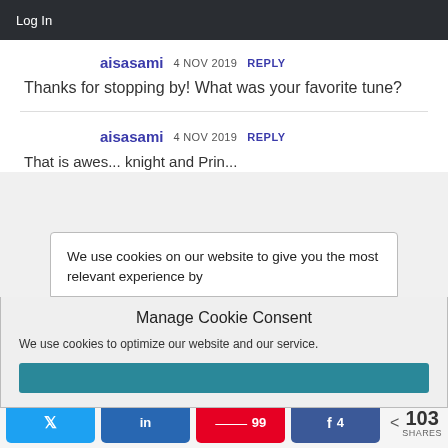Log In
aisasami  4 NOV 2019  REPLY
Thanks for stopping by! What was your favorite tune?
aisasami  4 NOV 2019  REPLY
That is awes... knight and Prin...
Manage Cookie Consent
We use cookies on our website to give you the most relevant experience by
We use cookies to optimize our website and our service.
Twitter  LinkedIn  Pinterest 99  Facebook 4  < 103 SHARES